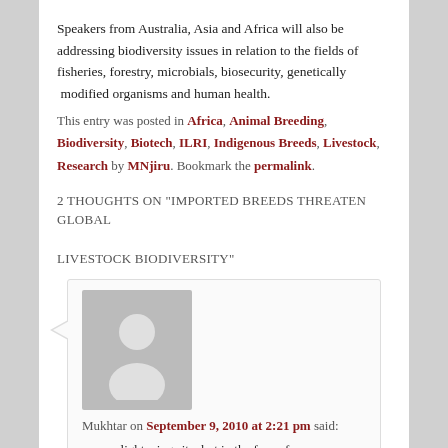Speakers from Australia, Asia and Africa will also be addressing biodiversity issues in relation to the fields of fisheries, forestry, microbials, biosecurity, genetically modified organisms and human health.
This entry was posted in Africa, Animal Breeding, Biodiversity, Biotech, ILRI, Indigenous Breeds, Livestock, Research by MNjiru. Bookmark the permalink.
2 THOUGHTS ON "IMPORTED BREEDS THREATEN GLOBAL LIVESTOCK BIODIVERSITY"
Mukhtar on September 9, 2010 at 2:21 pm said:
very enlightening site..but in the face of ever increasing mouths to feed local breeds are far in adequate to supply the required meat/milk and